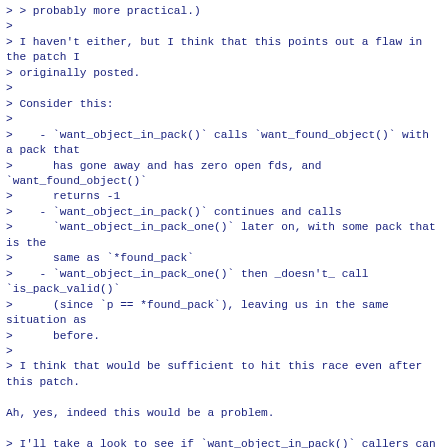> > probably more practical.)
>
> I haven't either, but I think that this points out a flaw in the patch I
> originally posted.
>
> Consider this:
>
>    - `want_object_in_pack()` calls `want_found_object()` with a pack that
>      has gone away and has zero open fds, and `want_found_object()`
>      returns -1
>    - `want_object_in_pack()` continues and calls
>      `want_object_in_pack_one()` later on, with some pack that is the
>      same as `*found_pack`
>    - `want_object_in_pack_one()` then _doesn't_ call `is_pack_valid()`
>      (since `p == *found_pack`), leaving us in the same situation as
>      before.
>
> I think that would be sufficient to hit this race even after this patch.

Ah, yes, indeed this would be a problem.

> I'll take a look to see if `want_object_in_pack()` callers can handle